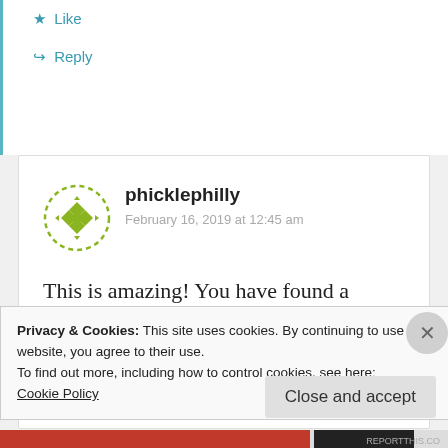★ Like
↪ Reply
[Figure (logo): phicklephilly avatar: circular dashed-border logo with green diamond/cross geometric pattern]
phicklephilly
February 16, 2019 at 12:45 am
This is amazing! You have found a wonderful husband! Blessed!
★ Liked by 1 person
Privacy & Cookies: This site uses cookies. By continuing to use this website, you agree to their use.
To find out more, including how to control cookies, see here:
Cookie Policy
Close and accept